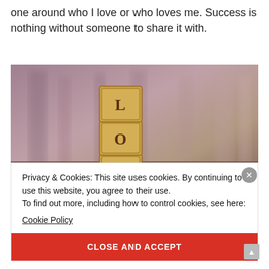one around who I love or who loves me. Success is nothing without someone to share it with.
[Figure (photo): Wooden letter blocks stacked vertically spelling 'LOV' (L on top, O in middle, V at bottom) against a blurred warm-toned background.]
Privacy & Cookies: This site uses cookies. By continuing to use this website, you agree to their use.
To find out more, including how to control cookies, see here:
Cookie Policy
CLOSE AND ACCEPT